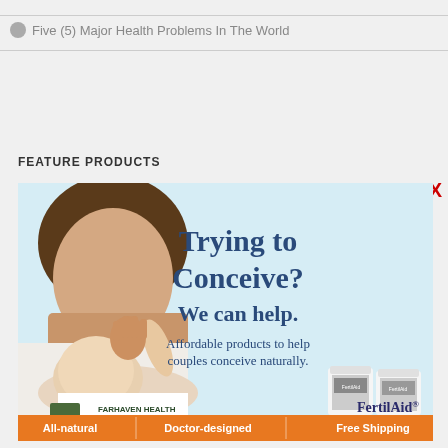Five (5) Major Health Problems In The World
FEATURE PRODUCTS
[Figure (illustration): Advertisement for FertilAid by Farhaven Health. Shows a mother and baby on a light blue background. Text reads: Trying to Conceive? We can help. Affordable products to help couples conceive naturally. Farhaven Health. FertilAid. Bottom orange banner: All-natural | Doctor-designed | Free Shipping]